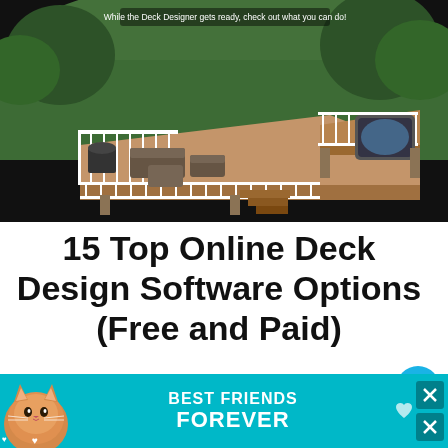[Figure (screenshot): 3D rendering of a deck design software showing a multi-level wooden deck with white railings, outdoor furniture, a hot tub, and green lawn background. Text overlay reads: 'While the Deck Designer gets ready, check out what you can do!']
15 Top Online Deck Design Software Options (Free and Paid)
I love decks and patios. I don't have a
[Figure (infographic): Advertisement banner with teal background showing a cat illustration on the left and text 'BEST FRIENDS FOREVER' with close buttons (X) on the right side. Small heart icons along the bottom.]